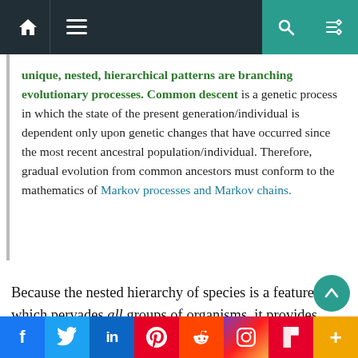Navigation bar with home, menu, search, and shuffle icons
unique, nested, hierarchical patterns are branching evolutionary processes. Common descent is a genetic process in which the state of the present generation/individual is dependent only upon genetic changes that have occurred since the most recent ancestral population/individual. Therefore, gradual evolution from common ancestors must conform to the mathematics of Markov processes and Markov chains.
Because the nested hierarchy of species is a feature which pervades all groups of organisms, it provides strong prima facie evidence for the universal common descent of living creatures, as a result of a random branching process.
Social sharing bar: Facebook, Twitter, LinkedIn, Pinterest, Reddit, Instagram, Flipboard, More